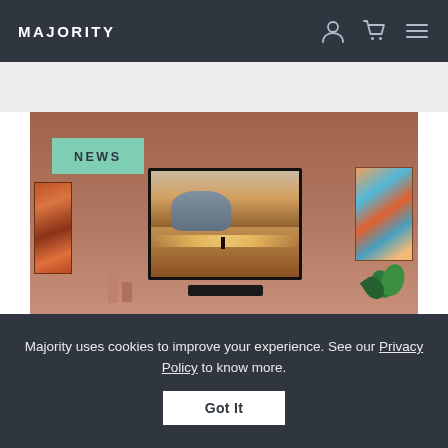MAJORITY
[Figure (photo): Room scene with a TV mounted on a terracotta/brown wall, flanked by two art pieces, with a soundbar below the TV, plants, and candles. A teal NEWS badge overlays the top-left corner of the image.]
Majority uses cookies to improve your experience. See our Privacy Policy to know more.
Got It